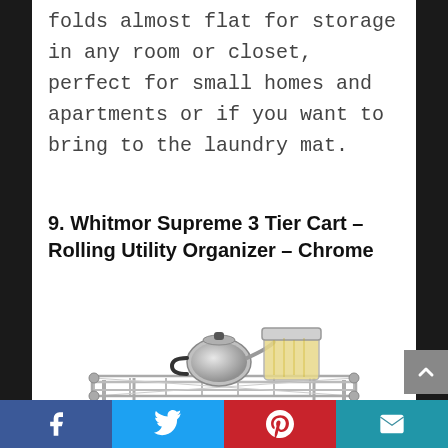folds almost flat for storage in any room or closet, perfect for small homes and apartments or if you want to bring to the laundry mat.
9. Whitmor Supreme 3 Tier Cart – Rolling Utility Organizer – Chrome
[Figure (photo): Photo of a chrome wire utility cart shelf with a stainless steel tea kettle and a square glass jar filled with pasta on the top shelf.]
Facebook | Twitter | Pinterest | Email